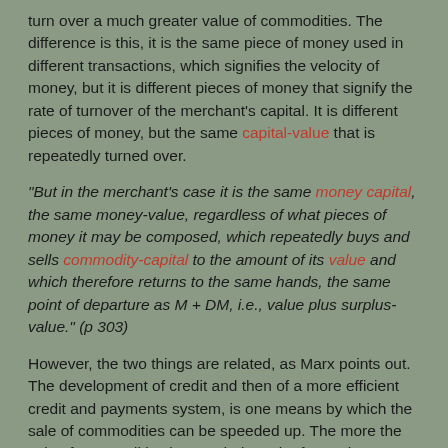turn over a much greater value of commodities. The difference is this, it is the same piece of money used in different transactions, which signifies the velocity of money, but it is different pieces of money that signify the rate of turnover of the merchant's capital. It is different pieces of money, but the same capital-value that is repeatedly turned over.
"But in the merchant's case it is the same money capital, the same money-value, regardless of what pieces of money it may be composed, which repeatedly buys and sells commodity-capital to the amount of its value and which therefore returns to the same hands, the same point of departure as M + DM, i.e., value plus surplus-value." (p 303)
However, the two things are related, as Marx points out. The development of credit and then of a more efficient credit and payments system, is one means by which the sale of commodities can be speeded up. The more the sale of commodities is speeded up, the faster the money-capital is turned over, and precisely because money-capital is in the form of money, the higher the velocity of money.